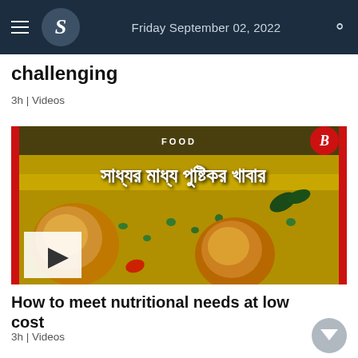Friday September 02, 2022
challenging
3h | Videos
[Figure (screenshot): Video thumbnail showing Bengali text 'সাধ্যর মাধ্য পুষ্টিকর খাবার' (Nutritious food within means) with a FOOD label, a play button, and a food dish with eggs and rice in the background. Red borders on sides, B logo top right.]
How to meet nutritional needs at low cost
3h | Videos